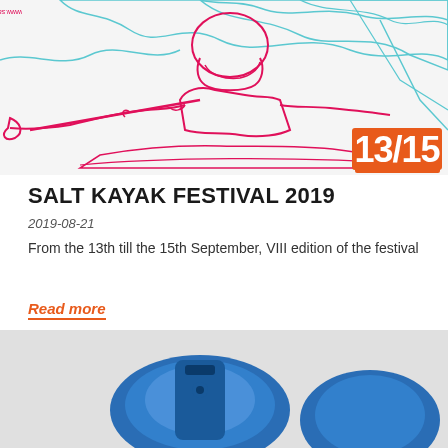[Figure (illustration): Line art illustration of a kayaker paddling, drawn in pink/magenta outlines against a light background with cyan/teal abstract shapes. Text 'www.saltkaya...' visible vertically on left. Orange '13/15' number graphic in bottom right corner.]
SALT KAYAK FESTIVAL 2019
2019-08-21
From the 13th till the 15th September, VIII edition of the festival
Read more
[Figure (photo): Close-up photo of blue kayak equipment/accessories against white background, showing blue paddle or kayak parts.]